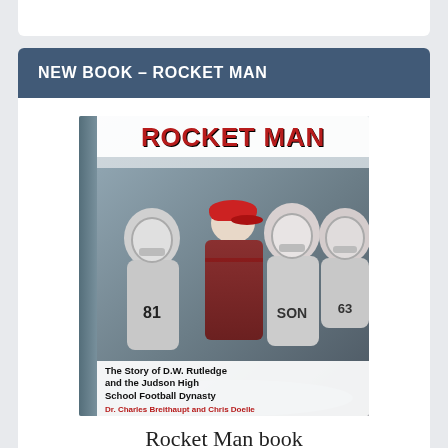NEW BOOK – ROCKET MAN
[Figure (photo): Book cover of 'Rocket Man: The Story of D.W. Rutledge and the Judson High School Football Dynasty' by Dr. Charles Breithaupt and Chris Doelle. Shows a coach in a red jacket standing in front of football players in white helmets and jerseys.]
Rocket Man book